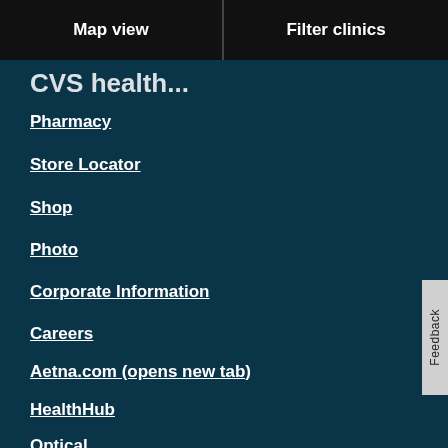Map view
Filter clinics
CVS health...
Pharmacy
Store Locator
Shop
Photo
Corporate Information
Careers
Aetna.com (opens new tab)
HealthHub
Optical
Feedback